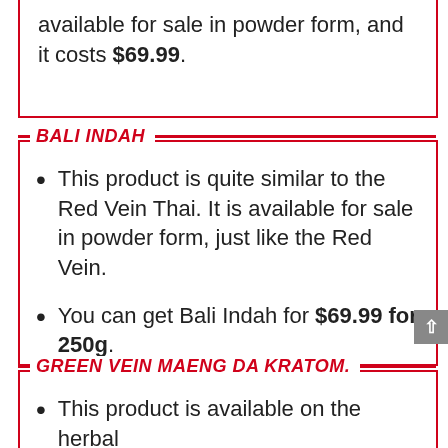available for sale in powder form, and it costs $69.99.
BALI INDAH
This product is quite similar to the Red Vein Thai. It is available for sale in powder form, just like the Red Vein.
You can get Bali Indah for $69.99 for 250g.
GREEN VEIN MAENG DA KRATOM.
This product is available on the herbal